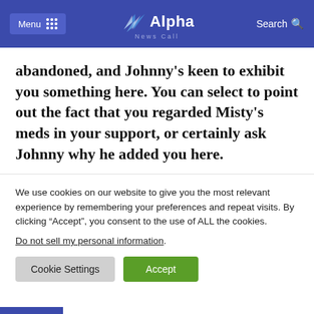Menu | Alpha News Call | Search
abandoned, and Johnny's keen to exhibit you something here. You can select to point out the fact that you regarded Misty's meds in your support, or certainly ask Johnny why he added you here.
We use cookies on our website to give you the most relevant experience by remembering your preferences and repeat visits. By clicking “Accept”, you consent to the use of ALL the cookies.
Do not sell my personal information.
Cookie Settings   Accept